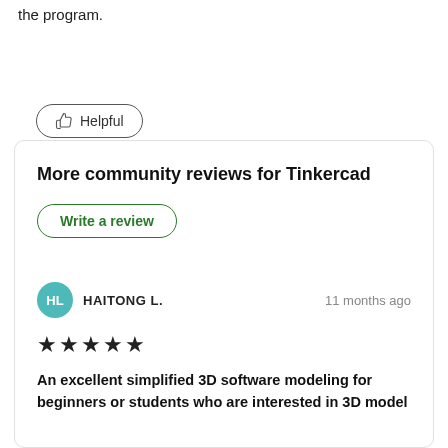the program.
[Figure (other): Helpful thumbs-up button with rounded border]
More community reviews for Tinkercad
[Figure (other): Write a review button with green border]
HAITONG L.   11 months ago
[Figure (other): 5 star rating shown as filled black stars]
An excellent simplified 3D software modeling for beginners or students who are interested in 3D model